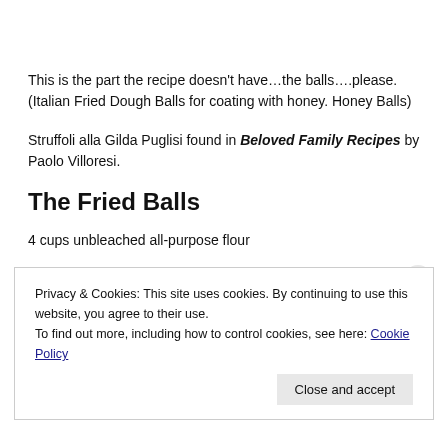This is the part the recipe doesn't have…the balls….please. (Italian Fried Dough Balls for coating with honey. Honey Balls)
Struffoli alla Gilda Puglisi found in Beloved Family Recipes by Paolo Villoresi.
The Fried Balls
4 cups unbleached all-purpose flour
5 teaspoons baking powder
Privacy & Cookies: This site uses cookies. By continuing to use this website, you agree to their use. To find out more, including how to control cookies, see here: Cookie Policy